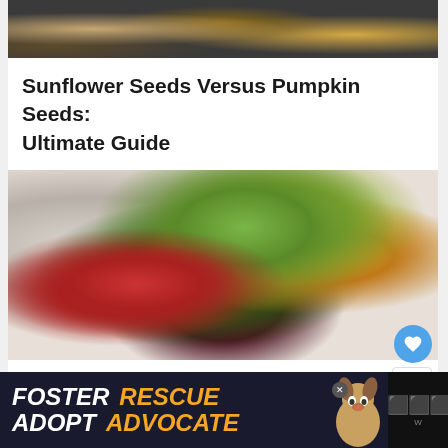[Figure (photo): Top portion of seeds image (sunflower/pumpkin seeds on dark background), cropped at top]
Sunflower Seeds Versus Pumpkin Seeds: Ultimate Guide
[Figure (photo): Colorful raw vegan salad bowl with cherry tomatoes, avocado, green noodles, orange carrots, purple cabbage, and leafy greens on white plate]
Raw Vegan Weight Loss in 1 Month Works
[Figure (other): FOSTER ADOPT ADVOCATE advertisement banner with beagle dog image on dark background]